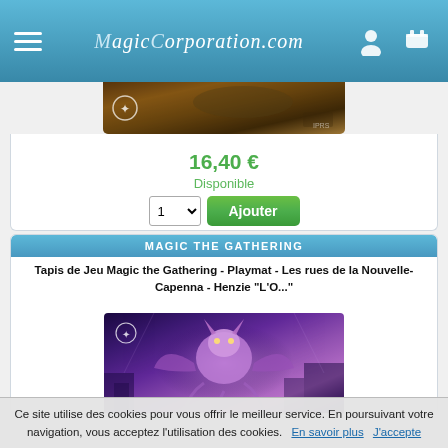Magic Corporation - navigation header with logo, menu, user and cart icons
[Figure (photo): Product image of Magic the Gathering playmat - partially visible at top, showing a brown/golden fantasy scene]
16,40 €
Disponible
1  Ajouter
MAGIC THE GATHERING
Tapis de Jeu Magic the Gathering - Playmat - Les rues de la Nouvelle-Capenna - Henzie "L'O...
[Figure (photo): Product image of Magic the Gathering playmat - Henzie, showing a purple horned creature in fantasy city setting]
Ce site utilise des cookies pour vous offrir le meilleur service. En poursuivant votre navigation, vous acceptez l'utilisation des cookies.   En savoir plus   J'accepte